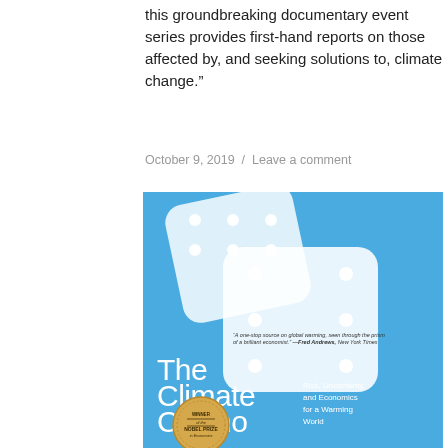this groundbreaking documentary event series provides first-hand reports on those affected by, and seeking solutions to, climate change.”
October 9, 2019 / Leave a comment
[Figure (photo): Book cover of 'The Climate Casino: Risk, Uncertainty, and Economics for a Warming World' with blue background and white dice, featuring a Nobel Prize in Economics winner badge and a quote from Fred Andrews, New York Times.]